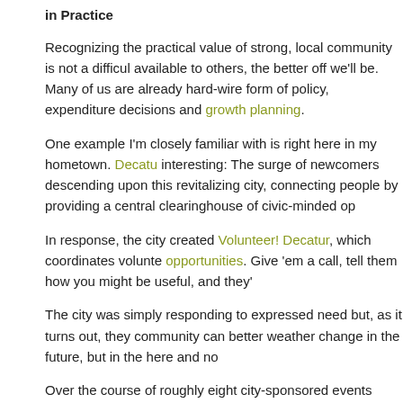in Practice
Recognizing the practical value of strong, local community is not a difficult available to others, the better off we'll be. Many of us are already hard-wire form of policy, expenditure decisions and growth planning.
One example I'm closely familiar with is right here in my hometown. Decatu interesting: The surge of newcomers descending upon this revitalizing city, connecting people by providing a central clearinghouse of civic-minded op
In response, the city created Volunteer! Decatur, which coordinates volunte opportunities. Give 'em a call, tell them how you might be useful, and they'
The city was simply responding to expressed need but, as it turns out, they community can better weather change in the future, but in the here and no
Over the course of roughly eight city-sponsored events each year, voluntee translate to over a quarter million dollars in value. Each year. And that's no imperatives that, in their absence, would fall on the shoulders of… you gue
But even better, in the course of all that volunteering, all those civic-minded since resulted in things like community gardens which, in turn, inspired ou
That's how community grows. Of course, it's not just about food. It's a lot b